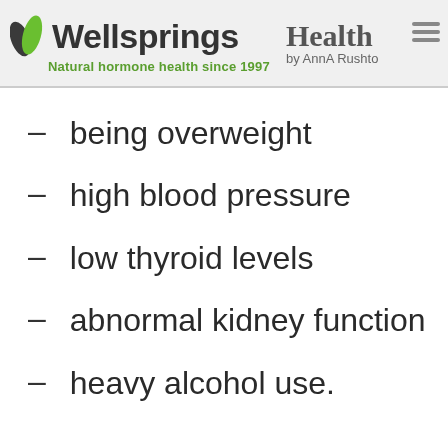[Figure (logo): Wellsprings logo with green leaves, text 'Wellsprings' in dark gray, tagline 'Natural hormone health since 1997' in green, and 'Health' partial title by AnnA Rushto on the right]
being overweight
high blood pressure
low thyroid levels
abnormal kidney function
heavy alcohol use.